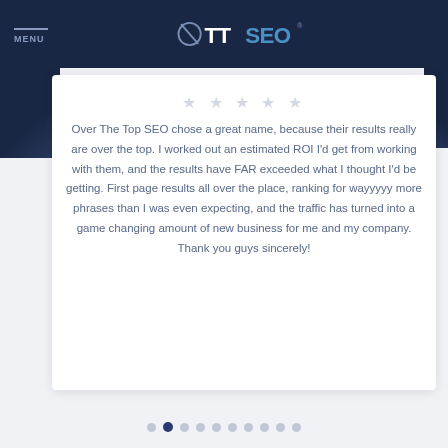MENU | OTTSEO
Over The Top SEO chose a great name, because their results really are over the top. I worked out an estimated ROI I'd get from working with them, and the results have FAR exceeded what I thought I'd be getting. First page results all over the place, ranking for wayyyyy more phrases than I was even expecting, and the traffic has turned into a game changing amount of new business for me and my company. Thank you guys sincerely!